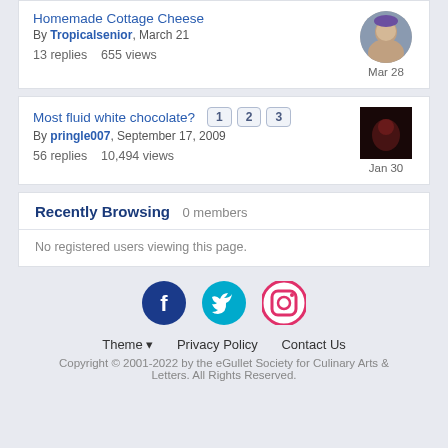Homemade Cottage Cheese
By Tropicalsenior, March 21
13 replies   655 views
Most fluid white chocolate? 1 2 3
By pringle007, September 17, 2009
56 replies   10,494 views
Recently Browsing   0 members
No registered users viewing this page.
[Figure (infographic): Social media icons: Facebook, Twitter, Instagram]
Theme ▼   Privacy Policy   Contact Us
Copyright © 2001-2022 by the eGullet Society for Culinary Arts & Letters. All Rights Reserved.